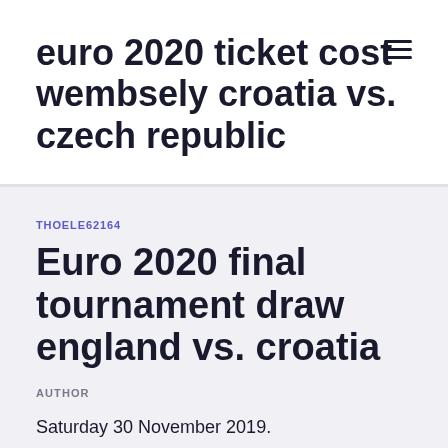euro 2020 ticket cost wembsely croatia vs. czech republic
THOELE62164
Euro 2020 final tournament draw england vs. croatia
AUTHOR
Saturday 30 November 2019.
the Euro 2020 soccer tournament was postponed last